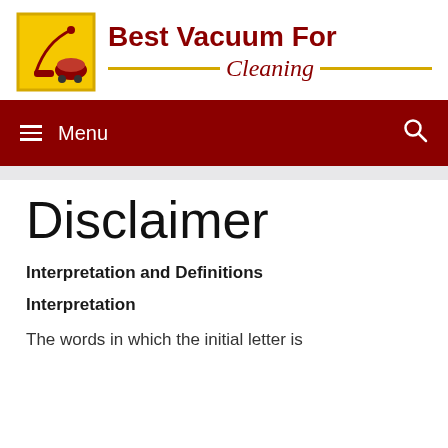[Figure (logo): Best Vacuum For Cleaning website logo with vacuum cleaner icon in yellow box and site name in dark red]
≡ Menu | [search icon]
Disclaimer
Interpretation and Definitions
Interpretation
The words in which the initial letter is